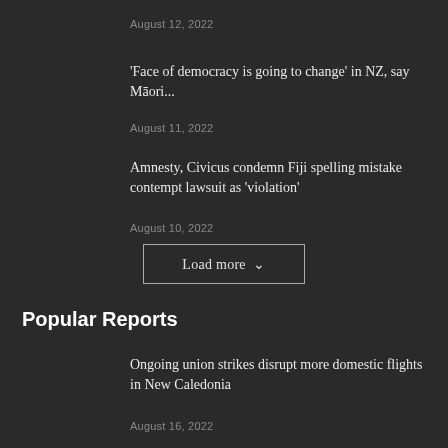August 12, 2022
‘Face of democracy is going to change’ in NZ, say Māori...
August 11, 2022
Amnesty, Civicus condemn Fiji spelling mistake contempt lawsuit as ‘violation’
August 10, 2022
Load more
Popular Reports
Ongoing union strikes disrupt more domestic flights in New Caledonia
August 16, 2022